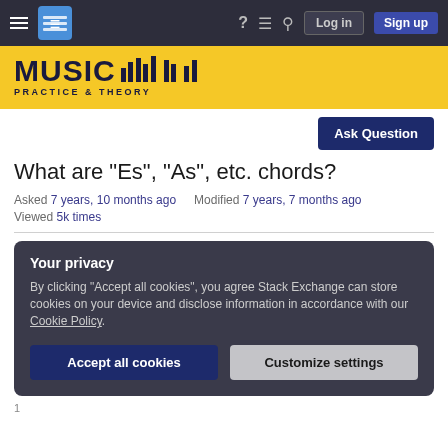Music Practice & Theory – Stack Exchange navigation bar with Log in and Sign up buttons
[Figure (logo): Music Practice & Theory Stack Exchange logo – dark text 'MUSIC' with bar-chart style musical bars and 'PRACTICE & THEORY' subtitle on yellow background]
What are "Es", "As", etc. chords?
Asked 7 years, 10 months ago   Modified 7 years, 7 months ago
Viewed 5k times
Your privacy
By clicking "Accept all cookies", you agree Stack Exchange can store cookies on your device and disclose information in accordance with our Cookie Policy.
Accept all cookies   Customize settings
1